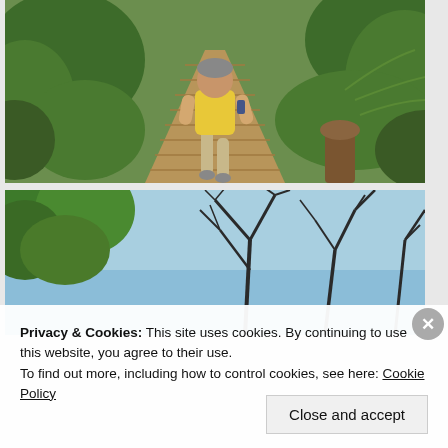[Figure (photo): Person walking away on a wooden boardwalk path surrounded by lush green ferns and vegetation]
[Figure (photo): Upward view of bare tree branches against a bright blue sky with green leafy trees on the left]
Privacy & Cookies: This site uses cookies. By continuing to use this website, you agree to their use.
To find out more, including how to control cookies, see here: Cookie Policy
Close and accept